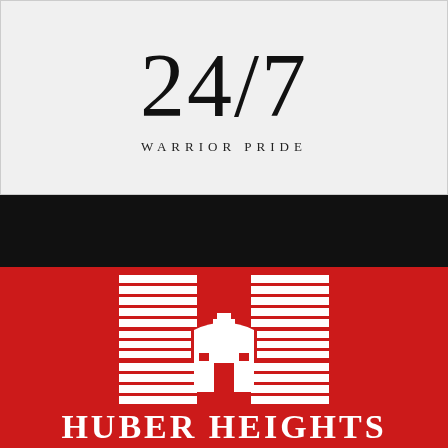24/7
WARRIOR PRIDE
[Figure (logo): Huber Heights school logo — stylized H letter composed of horizontal white stripes with a building/bell tower in the center, on a red background]
HUBER HEIGHTS